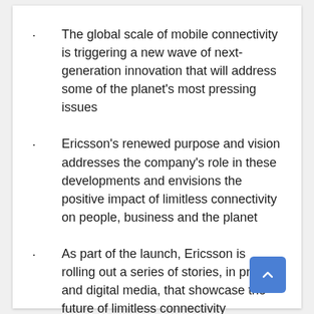The global scale of mobile connectivity is triggering a new wave of next-generation innovation that will address some of the planet's most pressing issues
Ericsson's renewed purpose and vision addresses the company's role in these developments and envisions the positive impact of limitless connectivity on people, business and the planet
As part of the launch, Ericsson is rolling out a series of stories, in print and digital media, that showcase the future of limitless connectivity